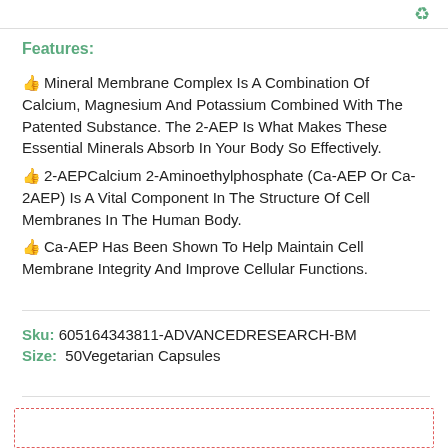Features:
Mineral Membrane Complex Is A Combination Of Calcium, Magnesium And Potassium Combined With The Patented Substance. The 2-AEP Is What Makes These Essential Minerals Absorb In Your Body So Effectively.
2-AEPCalcium 2-Aminoethylphosphate (Ca-AEP Or Ca-2AEP) Is A Vital Component In The Structure Of Cell Membranes In The Human Body.
Ca-AEP Has Been Shown To Help Maintain Cell Membrane Integrity And Improve Cellular Functions.
Sku: 605164343811-ADVANCEDRESEARCH-BM
Size:  50Vegetarian Capsules